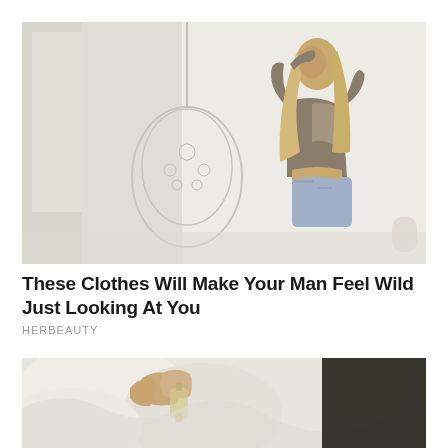[Figure (photo): Woman in a bright white room wearing a brown cropped knit top with exposed back and denim cutoff shorts, with long blonde hair, posing near a hanging egg chair]
These Clothes Will Make Your Man Feel Wild Just Looking At You
HERBEAUTY
[Figure (photo): Close-up of hands holding a small glass bottle with white bedding in the background, partially obscured by dark overlay on right side]